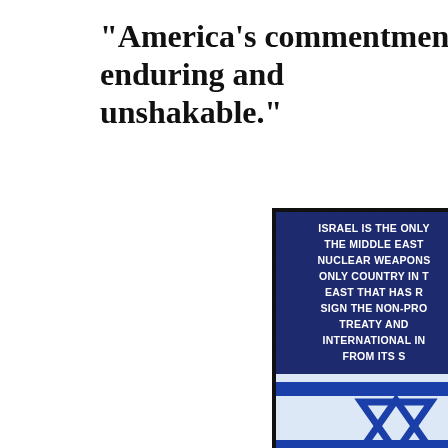"America's commentment enduring and unshakable."
[Figure (infographic): An infographic with a dark blue stone-textured background with white bold text reading 'Israel is the only [country in] the Middle East [with] nuclear weapons [and the] only country in [the Middle] East that has r[efused to] sign the non-pro[liferation] treaty and [barred] International in[spectors] from its s[ites]', overlaid on an Israeli flag showing the Star of David in blue on white and blue stripes.]